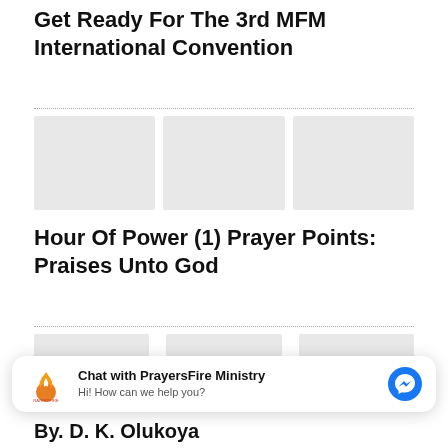Get Ready For The 3rd MFM International Convention
[Figure (other): Three placeholder thumbnail images in a row]
Hour Of Power (1) Prayer Points: Praises Unto God
[Figure (other): Three placeholder thumbnail images in a row]
[Figure (other): Chat widget for PrayersFire Ministry with messenger icon]
By. D. K. Olukoya